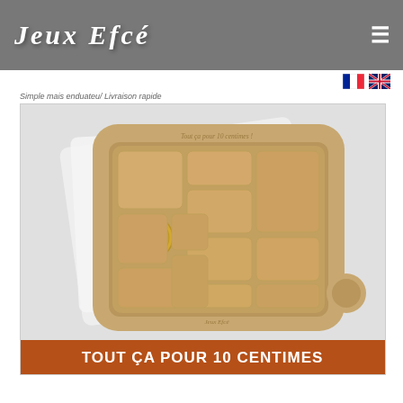Jeux Efcé
Simple mais enduateu/ Livraison rapide
[Figure (photo): Wooden puzzle board game named 'Tout ça pour 10 centimes' showing interlocking wooden blocks with a 50-cent coin in the puzzle, product photograph with a terracotta/brown banner at the bottom.]
TOUT ÇA POUR 10 CENTIMES